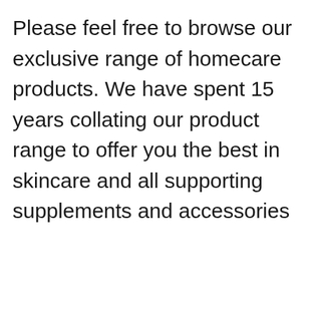Please feel free to browse our exclusive range of homecare products. We have spent 15 years collating our product range to offer you the best in skincare and all supporting supplements and accessories